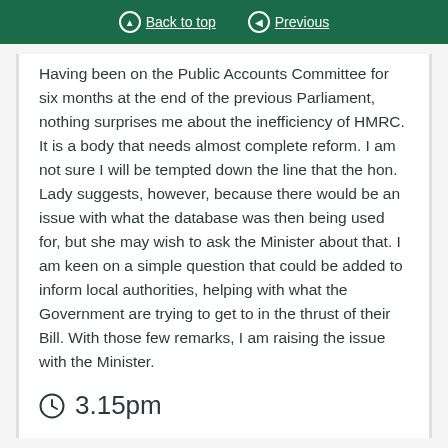Back to top | Previous
Having been on the Public Accounts Committee for six months at the end of the previous Parliament, nothing surprises me about the inefficiency of HMRC. It is a body that needs almost complete reform. I am not sure I will be tempted down the line that the hon. Lady suggests, however, because there would be an issue with what the database was then being used for, but she may wish to ask the Minister about that. I am keen on a simple question that could be added to inform local authorities, helping with what the Government are trying to get to in the thrust of their Bill. With those few remarks, I am raising the issue with the Minister.
3.15pm